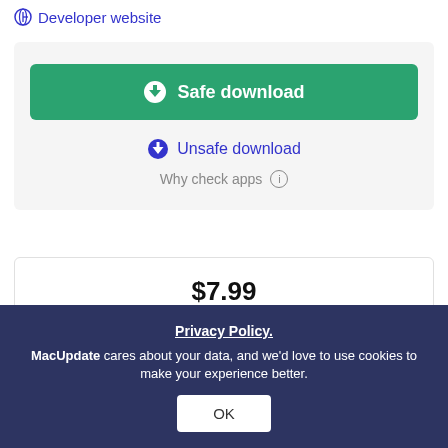Developer website
Safe download
Unsafe download
Why check apps  i
$7.99
Buy Now
Privacy Policy.
MacUpdate cares about your data, and we'd love to use cookies to make your experience better.
OK